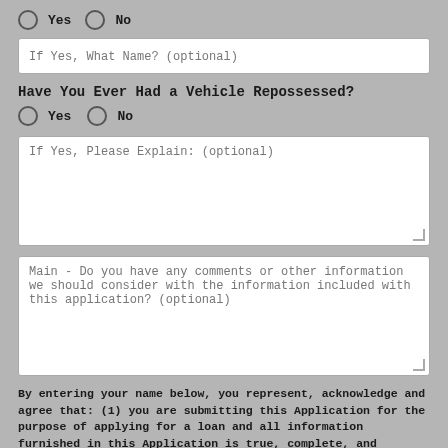Yes  No (radio row at top)
If Yes, What Name? (optional)
Have You Ever Had a Vehicle Repossessed?
Yes  No
If Yes, Please Explain: (optional)
Main - Do you have any comments or other information we should consider with the information included with this application? (optional)
By entering your name below, you represent, acknowledge and agree that: (1) you are submitting this Application for the purpose of applying for a loan and all information furnished in this Application is true, complete, and correct; (2) you are providing “written instructions” to us under the Fair Credit Reporting Act authorizing us to (a)